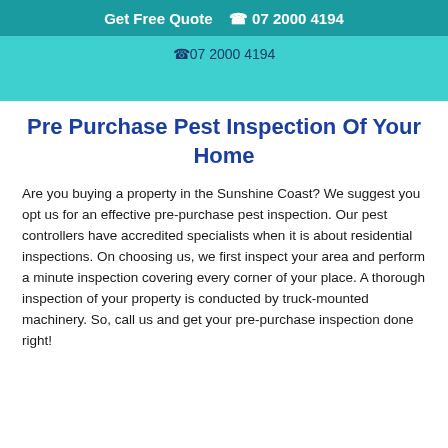Get Free Quote  📞 07 2000 4194
📞 07 2000 4194
Pre Purchase Pest Inspection Of Your Home
Are you buying a property in the Sunshine Coast? We suggest you opt us for an effective pre-purchase pest inspection. Our pest controllers have accredited specialists when it is about residential inspections. On choosing us, we first inspect your area and perform a minute inspection covering every corner of your place. A thorough inspection of your property is conducted by truck-mounted machinery. So, call us and get your pre-purchase inspection done right!